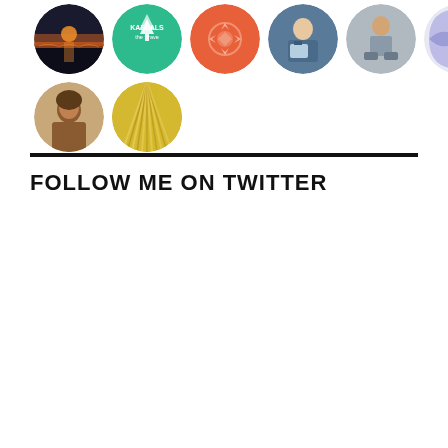[Figure (illustration): Grid of 8 circular avatar images arranged in two rows. Top row has 6 avatars: sunset/water scene, Karlals the Brave green logo, coral geometric pattern, person with tablet, person sitting, purple geometric pattern. Bottom row has 2 avatars: woman portrait, golden swirl/feather texture.]
FOLLOW ME ON TWITTER